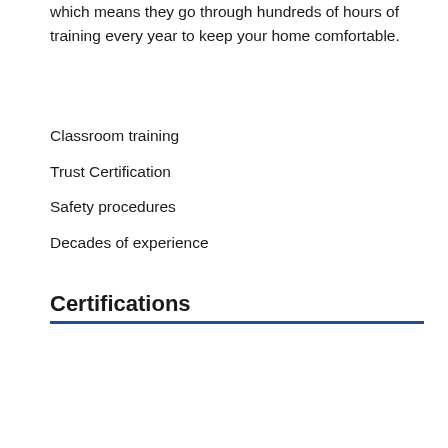which means they go through hundreds of hours of training every year to keep your home comfortable.
Classroom training
Trust Certification
Safety procedures
Decades of experience
Certifications